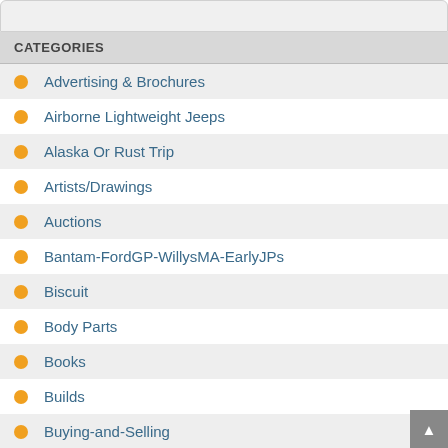CATEGORIES
Advertising & Brochures
Airborne Lightweight Jeeps
Alaska Or Rust Trip
Artists/Drawings
Auctions
Bantam-FordGP-WillysMA-EarlyJPs
Biscuit
Body Parts
Books
Builds
Buying-and-Selling
Camping
Catalogs